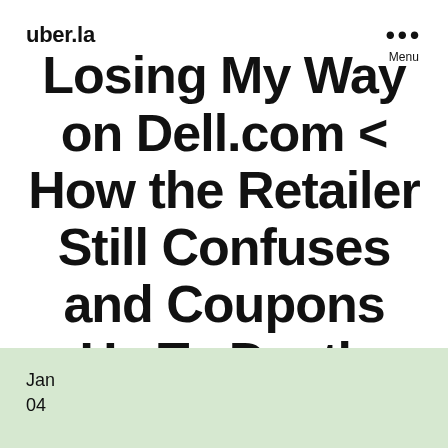uber.la
Losing My Way on Dell.com < How the Retailer Still Confuses and Coupons Us To Death
Jan
04